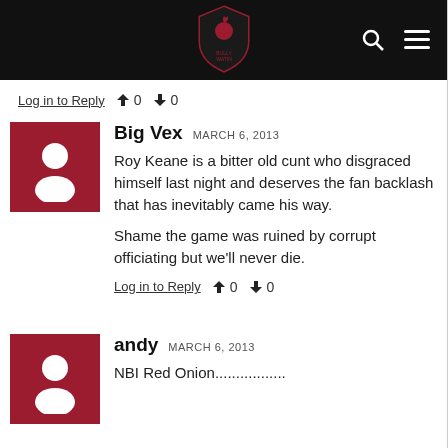[Figure (logo): Website header bar with logo, search icon, and menu icon on black background]
Log in to Reply  👍 0  👎 0
Big Vex  MARCH 6, 2013

Roy Keane is a bitter old cunt who disgraced himself last night and deserves the fan backlash that has inevitably came his way.

Shame the game was ruined by corrupt officiating but we'll never die.

Log in to Reply  👍 0  👎 0
andy  MARCH 6, 2013

NBI Red Onion.................